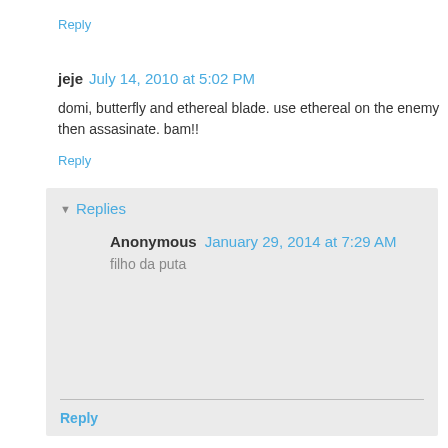Reply
jeje  July 14, 2010 at 5:02 PM
domi, butterfly and ethereal blade. use ethereal on the enemy then assasinate. bam!!
Reply
▼ Replies
Anonymous  January 29, 2014 at 7:29 AM
filho da puta
Reply